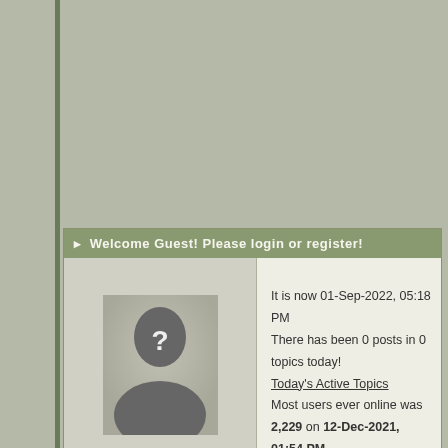Welcome Guest! Please login or register!
It is now 01-Sep-2022, 05:18 PM
There has been 0 posts in 0 topics today!
Today's Active Topics
Most users ever online was 2,229 on 12-Dec-2021, 01:54 PM
General
|  | Forum |
| --- | --- |
| ipb | Introductions
Introduce yourself to our community. |
| ipb | General Discussion
General discussion area open to all topics. |